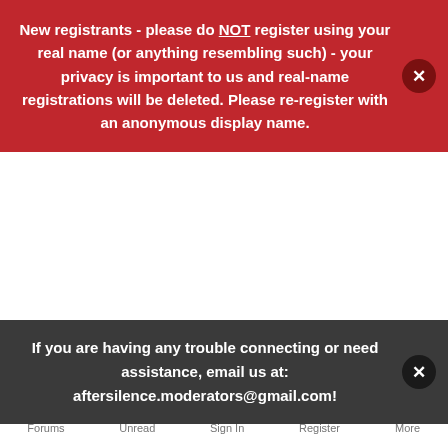New registrants - please do NOT register using your real name (or anything resembling such) - your privacy is important to us and real-name registrations will be deleted. Please re-register with an anonymous display name.
If you are having any trouble connecting or need assistance, email us at: aftersilence.moderators@gmail.com!
October 7, 2019  4 replies  Introduction  New Here
Hey everyone
da2606 posted a topic in Public: Welcome!
Forums  Unread  Sign In  Register  More